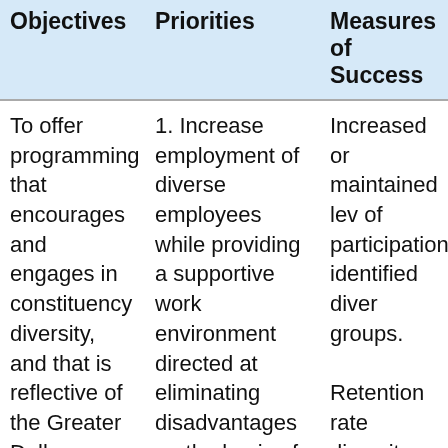| Objectives | Priorities | Measures of Success |
| --- | --- | --- |
| To offer programming that encourages and engages in constituency diversity, and that is reflective of the Greater Dallas community we serve. | 1. Increase employment of diverse employees while providing a supportive work environment directed at eliminating disadvantages on the basis of: gender, race or ethnicity, disability, sexual orientation, age, caring responsibilities | Increased or maintained levels of participation identified diverse groups.

Retention rates diversity groups are equal to or higher than industry avera...

Developing capacity buildin programs for at least two DISD orchestra |
| To ensure our | caring responsibilities | orchestra |